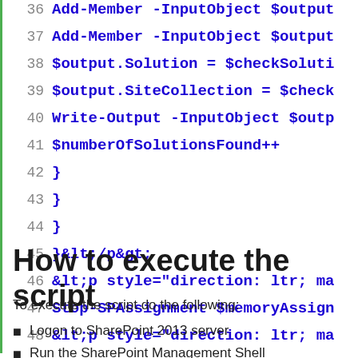[Figure (screenshot): Code block showing lines 36-48 of a PowerShell script with green left border, line numbers in gray, code in bold blue monospace font. Lines include Add-Member, $output.Solution, $output.SiteCollection, Write-Output, $numberOfSolutionsFound++, closing braces, HTML tags, Stop-SPAssignment, and more HTML tags.]
How to execute the script
To execute the script do the following:
Logon to SharePoint 2013 server
Run the SharePoint Management Shell